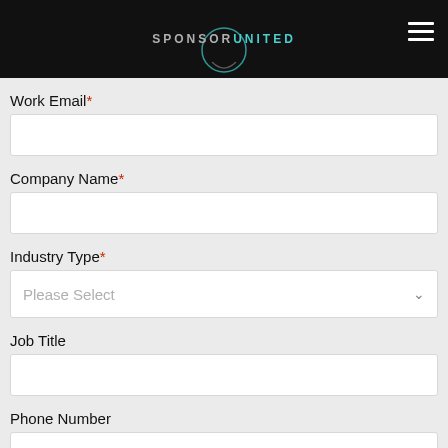[Figure (logo): SponsorUnited logo with circular icon and hamburger menu on dark header]
Work Email*
Company Name*
Industry Type*
Job Title
Phone Number
(xxx)xxx-xxxx